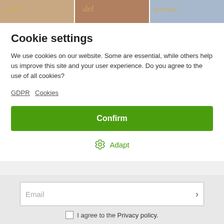[Figure (photo): Top banner showing three jewelry/hands photos side by side with cursive text overlays: 'jenny', 'del', and 'pendant']
Cookie settings
We use cookies on our website. Some are essential, while others help us improve this site and your user experience. Do you agree to the use of all cookies?
GDPR Cookies
Confirm
Adapt
Email
I agree to the Privacy policy.